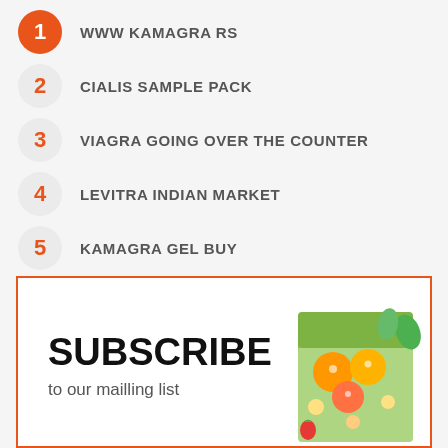1 WWW KAMAGRA RS
2 CIALIS SAMPLE PACK
3 VIAGRA GOING OVER THE COUNTER
4 LEVITRA INDIAN MARKET
5 KAMAGRA GEL BUY
[Figure (illustration): Subscribe banner with colorful fruit cartoon box illustration, bold text SUBSCRIBE and subtitle 'to our mailling list']
SUBSCRIBE
to our mailling list